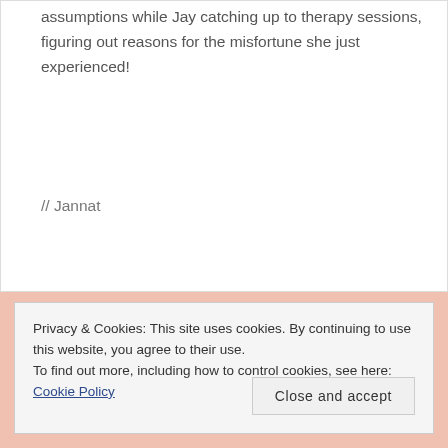assumptions while Jay catching up to therapy sessions, figuring out reasons for the misfortune she just experienced!
// Jannat
Privacy & Cookies: This site uses cookies. By continuing to use this website, you agree to their use.
To find out more, including how to control cookies, see here: Cookie Policy
Close and accept